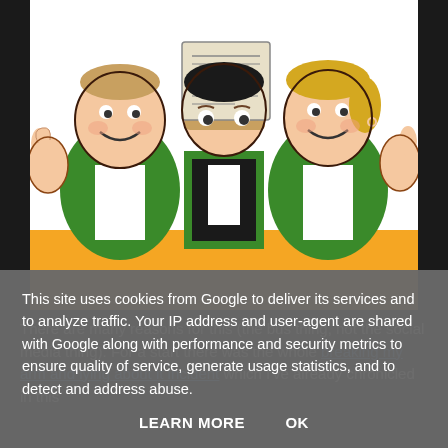[Figure (illustration): Comic-style illustration of three cartoon characters (two adults flanking a child in the middle) giving thumbs up, wearing green vests. Below the characters is an orange/yellow banner area. The image is framed with a white background.]
There are many reasons for this (the bus thing, not the social media thing). For a start there was the whole breaking my arm and lying about it incident which I've already chronicled in this
This site uses cookies from Google to deliver its services and to analyze traffic. Your IP address and user-agent are shared with Google along with performance and security metrics to ensure quality of service, generate usage statistics, and to detect and address abuse.
LEARN MORE    OK